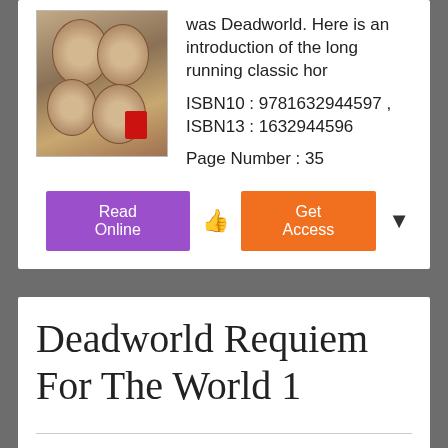[Figure (illustration): Book cover showing cluster of faces/skulls, horror-themed, with small red accent]
was Deadworld. Here is an introduction of the long running classic hor
ISBN10 : 9781632944597 , ISBN13 : 1632944596
Page Number : 35
Read Online
Get Access
Deadworld Requiem For The World 1
2019-11-07   Gary Reed   Caliber Comics
[Figure (illustration): Book cover thumbnail at bottom, colorful horror comic art]